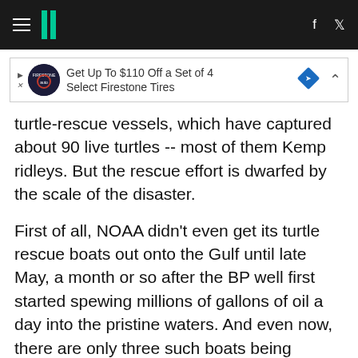HuffPost navigation bar with hamburger menu, logo, Facebook and Twitter icons
[Figure (other): Advertisement banner: Get Up To $110 Off a Set of 4 Select Firestone Tires]
turtle-rescue vessels, which have captured about 90 live turtles -- most of them Kemp ridleys. But the rescue effort is dwarfed by the scale of the disaster.
First of all, NOAA didn't even get its turtle rescue boats out onto the Gulf until late May, a month or so after the BP well first started spewing millions of gallons of oil a day into the pristine waters. And even now, there are only three such boats being deployed.